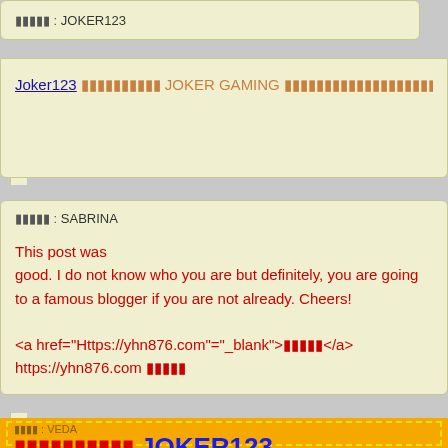ชื่อ : JOKER123
Joker123 เว็บตรงสล็อต JOKER GAMING สล็อตออนไลน์ที่ดีที่สุดในไทย Jo
ชื่อ : SABRINA
This post was good. I do not know who you are but definitely, you are going to a famous blogger if you are not already. Cheers!

<a href="Https://yhn876.com"="_blank">สล็อต</a>
https://yhn876.com สล็อต
ชื่อ : VEDA
สล็อตเว็บตรง JOKER123